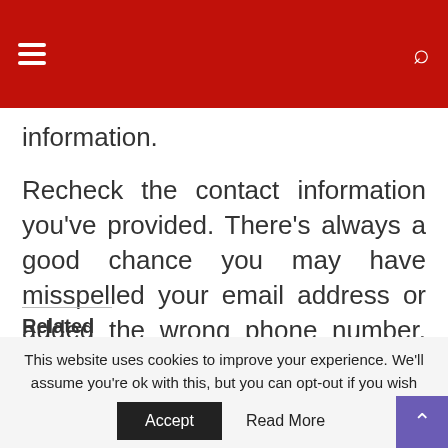information.
Recheck the contact information you’ve provided. There’s always a good chance you may have misspelled your email address or added the wrong phone number. CV’s without the right contact information is next to useless.
Related
This website uses cookies to improve your experience. We’ll assume you’re ok with this, but you can opt-out if you wish